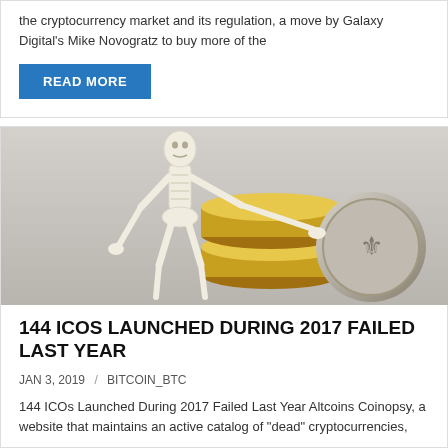the cryptocurrency market and its regulation, a move by Galaxy Digital's Mike Novogratz to buy more of the
READ MORE
[Figure (photo): A skeleton figurine crouching over a stack of gold coins, handling a large coin with both hands, on a grey background.]
144 ICOS LAUNCHED DURING 2017 FAILED LAST YEAR
JAN 3, 2019 / BITCOIN_BTC
144 ICOs Launched During 2017 Failed Last Year Altcoins Coinopsy, a website that maintains an active catalog of "dead" cryptocurrencies,